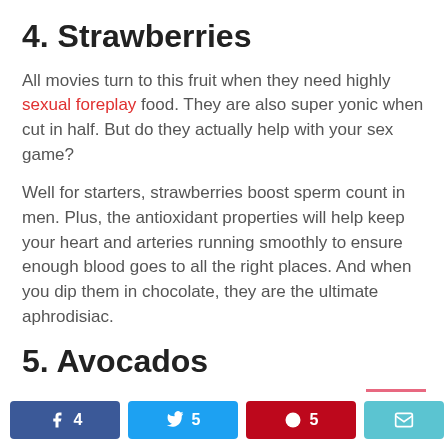4. Strawberries
All movies turn to this fruit when they need highly sexual foreplay food. They are also super yonic when cut in half. But do they actually help with your sex game?
Well for starters, strawberries boost sperm count in men. Plus, the antioxidant properties will help keep your heart and arteries running smoothly to ensure enough blood goes to all the right places. And when you dip them in chocolate, they are the ultimate aphrodisiac.
5. Avocados
4  5  5  14 SHARES